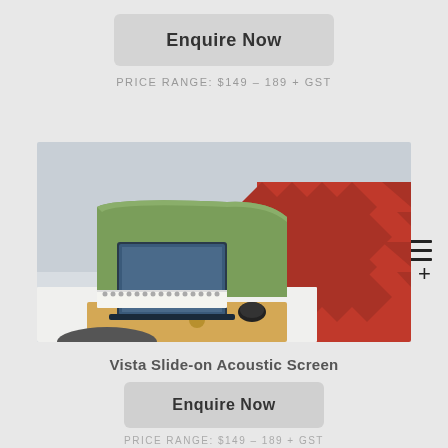Enquire Now
PRICE RANGE: $149 – 189 + GST
[Figure (photo): Office desk with a green fabric slide-on acoustic screen divider, a laptop in the background, a notebook and mouse on the desk, and a red textured acoustic panel visible in the background.]
Vista Slide-on Acoustic Screen
Enquire Now
PRICE RANGE: $149 – 189 + GST